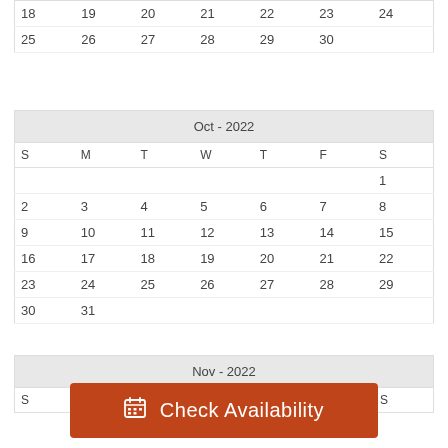| S | M | T | W | T | F | S |
| --- | --- | --- | --- | --- | --- | --- |
| 18 | 19 | 20 | 21 | 22 | 23 | 24 |
| 25 | 26 | 27 | 28 | 29 | 30 |  |
| Oct - 2022 |
| --- |
| S | M | T | W | T | F | S |
|  |  |  |  |  |  | 1 |
| 2 | 3 | 4 | 5 | 6 | 7 | 8 |
| 9 | 10 | 11 | 12 | 13 | 14 | 15 |
| 16 | 17 | 18 | 19 | 20 | 21 | 22 |
| 23 | 24 | 25 | 26 | 27 | 28 | 29 |
| 30 | 31 |  |  |  |  |  |
| Nov - 2022 |
| --- |
| S | M | T | W | T | F | S |
Check Availability